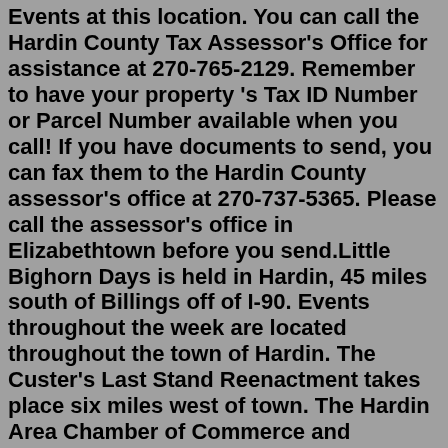Events at this location. You can call the Hardin County Tax Assessor's Office for assistance at 270-765-2129. Remember to have your property 's Tax ID Number or Parcel Number available when you call! If you have documents to send, you can fax them to the Hardin County assessor's office at 270-737-5365. Please call the assessor's office in Elizabethtown before you send.Little Bighorn Days is held in Hardin, 45 miles south of Billings off of I-90. Events throughout the week are located throughout the town of Hardin. The Custer's Last Stand Reenactment takes place six miles west of town. The Hardin Area Chamber of Commerce and Agriculture provides maps and directions to the various events. Mar 26, 2022 · Ellis County PRCA Rodeo &amp; Case Hardin Concert happening at Ellis County Livestock Show and Rodeo, 2300 US 287, Waxahachie, United States on Sat Mar 26 2022 at 07:30 pm Rineyville Optimist Club Rodeo This Weekend [LISTEN] 94.3 The Wolf August 3, 2021 Eric and Jodie Rick Tharpe with the Rineyville Optimist Club stopped by to talk about this